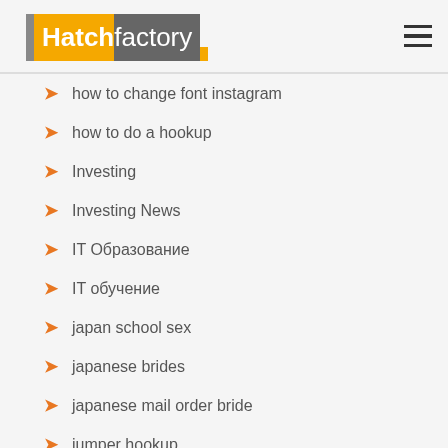Hatchfactory
how to change font instagram
how to do a hookup
Investing
Investing News
IT Образование
IT обучение
japan school sex
japanese brides
japanese mail order bride
jumper hookup